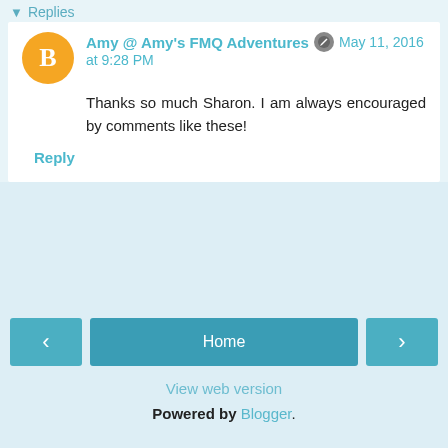Replies
Amy @ Amy's FMQ Adventures  May 11, 2016 at 9:28 PM
Thanks so much Sharon. I am always encouraged by comments like these!
Reply
Home
View web version
Powered by Blogger.